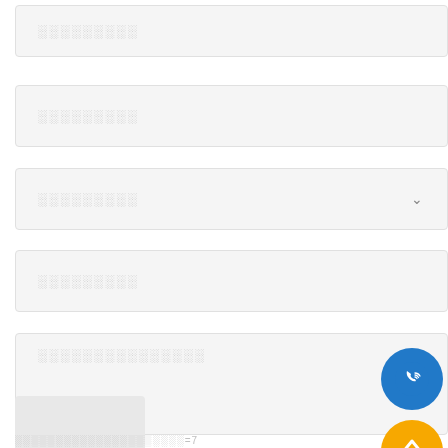░░░░░░░░░ (input box 1)
░░░░░░░░░ (input box 2)
░░░░░░░░░ (input box 3, with dropdown)
░░░░░░░░░ (input box 4)
░░░░░░░░░░░░░░░ (input box 5, large)
[Figure (photo): Small thumbnail image placeholder]
░░░░░░░░░░░░░░░░░░░░░=7
[Figure (other): Blue phone/call button icon]
[Figure (other): Orange TOP back-to-top button]